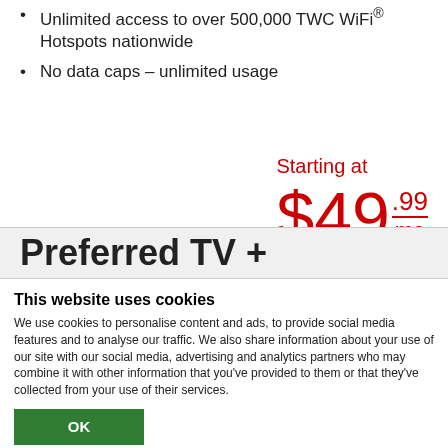Unlimited access to over 500,000 TWC WiFi® Hotspots nationwide
No data caps – unlimited usage
Starting at $49.99/mo for 12 months
Preferred TV +
This website uses cookies
We use cookies to personalise content and ads, to provide social media features and to analyse our traffic. We also share information about your use of our site with our social media, advertising and analytics partners who may combine it with other information that you've provided to them or that they've collected from your use of their services.
OK